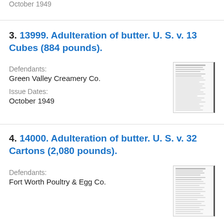October 1949
3. 13999. Adulteration of butter. U. S. v. 13 Cubes (884 pounds).
Defendants:
Green Valley Creamery Co.
Issue Dates:
October 1949
[Figure (other): Thumbnail of a scanned government document page]
4. 14000. Adulteration of butter. U. S. v. 32 Cartons (2,080 pounds).
Defendants:
Fort Worth Poultry & Egg Co.
[Figure (other): Thumbnail of a scanned government document page]